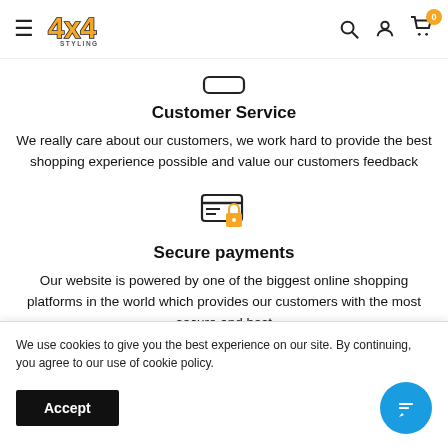4x4 Styling — navigation bar with hamburger menu, logo, search, account, cart (0)
[Figure (illustration): Small rounded rectangle icon representing headset / customer service symbol]
Customer Service
We really care about our customers, we work hard to provide the best shopping experience possible and value our customers feedback
[Figure (illustration): Credit card with padlock icon representing secure payments]
Secure payments
Our website is powered by one of the biggest online shopping platforms in the world which provides our customers with the most secure and best
We use cookies to give you the best experience on our site. By continuing, you agree to our use of cookie policy.
Accept